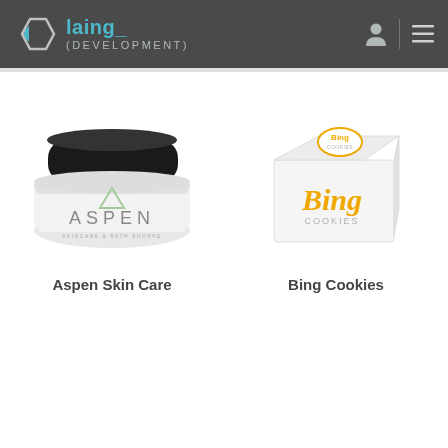[Figure (logo): Laing Development logo with hexagon icon and teal/grey text on dark header bar]
[Figure (photo): Aspen Skin Care product — white cream jar with black lid and ASPEN branding]
Aspen Skin Care
[Figure (photo): Bing Cookies product — white box with gold Bing Cookies branding and circular logo on top]
Bing Cookies